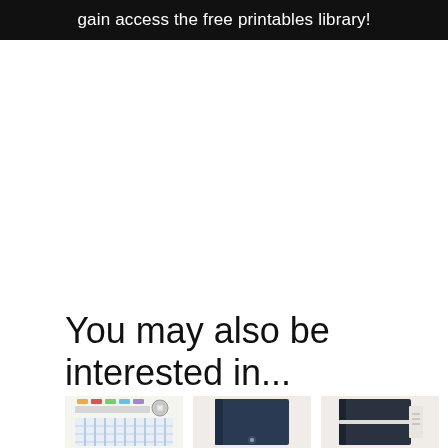gain access the free printables library!
You may also be interested in...
[Figure (photo): Three thumbnail images of stationery/planning products at the bottom of the page: left shows colored page flags and tape with a grid planner, center shows a dark navy notebook, right shows a dark notebook with elastic band.]